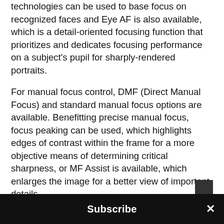technologies can be used to base focus on recognized faces and Eye AF is also available, which is a detail-oriented focusing function that prioritizes and dedicates focusing performance on a subject's pupil for sharply-rendered portraits.
For manual focus control, DMF (Direct Manual Focus) and standard manual focus options are available. Benefitting precise manual focus, focus peaking can be used, which highlights edges of contrast within the frame for a more objective means of determining critical sharpness, or MF Assist is available, which enlarges the image for a better view of important details.
A zebra function can be used for easier detection
Subscribe